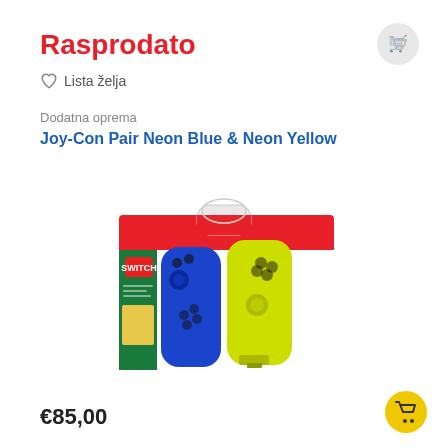Rasprodato
Lista zelja
Dodatna oprema
Joy-Con Pair Neon Blue & Neon Yellow
[Figure (photo): Nintendo Switch Joy-Con Pair Neon Blue and Neon Yellow in retail box packaging]
€85,00